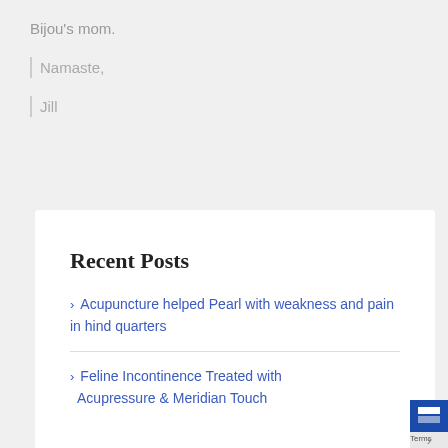Bijou's mom.
Namaste,
Jill
Recent Posts
Acupuncture helped Pearl with weakness and pain in hind quarters
Feline Incontinence Treated with Acupressure & Meridian Touch